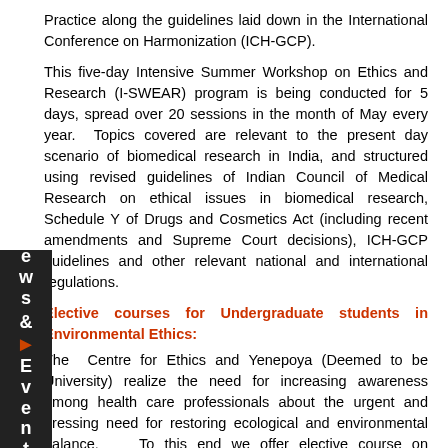Practice along the guidelines laid down in the International Conference on Harmonization (ICH-GCP).
This five-day Intensive Summer Workshop on Ethics and Research (I-SWEAR) program is being conducted for 5 days, spread over 20 sessions in the month of May every year. Topics covered are relevant to the present day scenario of biomedical research in India, and structured using revised guidelines of Indian Council of Medical Research on ethical issues in biomedical research, Schedule Y of Drugs and Cosmetics Act (including recent amendments and Supreme Court decisions), ICH-GCP guidelines and other relevant national and international regulations.
Elective courses for Undergraduate students in Environmental Ethics:
The Centre for Ethics and Yenepoya (Deemed to be University) realize the need for increasing awareness among health care professionals about the urgent and pressing need for restoring ecological and environmental balance. To this end we offer elective course on environmental ethics, a total of ten hour five classes for 5 Fridays, for the undergraduate students of Yenepoya